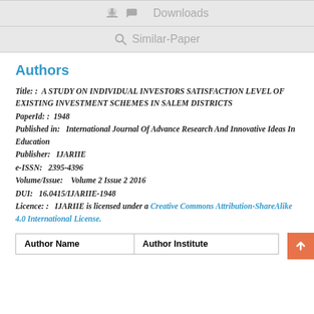Downloads
Similar-Paper
Authors
Title: :  A STUDY ON INDIVIDUAL INVESTORS SATISFACTION LEVEL OF EXISTING INVESTMENT SCHEMES IN SALEM DISTRICTS
PaperId: :  1948
Published in:   International Journal Of Advance Research And Innovative Ideas In Education
Publisher:   IJARIIE
e-ISSN:   2395-4396
Volume/Issue:    Volume 2 Issue 2 2016
DUI:   16.0415/IJARIIE-1948
Licence: :   IJARIIE is licensed under a Creative Commons Attribution-ShareAlike 4.0 International License.
| Author Name | Author Institute |
| --- | --- |